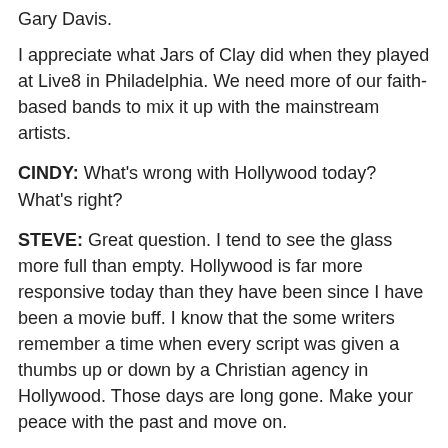Gary Davis.
I appreciate what Jars of Clay did when they played at Live8 in Philadelphia. We need more of our faith-based bands to mix it up with the mainstream artists.
CINDY: What's wrong with Hollywood today? What's right?
STEVE: Great question. I tend to see the glass more full than empty. Hollywood is far more responsive today than they have been since I have been a movie buff. I know that the some writers remember a time when every script was given a thumbs up or down by a Christian agency in Hollywood. Those days are long gone. Make your peace with the past and move on.
Wasn't it great the way that Nightcrawler could be a fully Christian superhero in X-Men 2 without everyone breaking out in hives? I loved that. He was blue with pointy ears and a tail and quoted the 23rd Psalm and the Lord's Prayer. No one poked fun at him. He was not a superficial, stereotypical Christian. It was so organic.